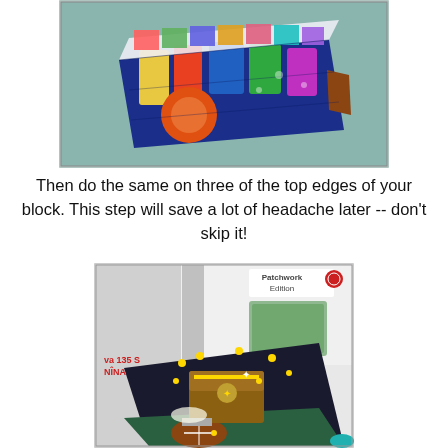[Figure (photo): Colorful patchwork fabric block with music/guitar print being folded or pinned, showing top edges, on a blue-green background]
Then do the same on three of the top edges of your block. This step will save a lot of headache later -- don't skip it!
[Figure (photo): Sewing machine (labeled 'Patchwork Edition', 'va 135 S', 'NINA') with a dark fabric block featuring a decorative treasure chest/crown motif with gold embellishments and colorful sports print, being sewn]